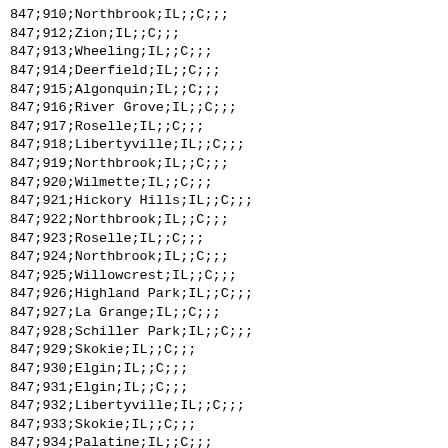847;910;Northbrook;IL;;C;;;
847;912;Zion;IL;;C;;;
847;913;Wheeling;IL;;C;;;
847;914;Deerfield;IL;;C;;;
847;915;Algonquin;IL;;C;;;
847;916;River Grove;IL;;C;;;
847;917;Roselle;IL;;C;;;
847;918;Libertyville;IL;;C;;;
847;919;Northbrook;IL;;C;;;
847;920;Wilmette;IL;;C;;;
847;921;Hickory Hills;IL;;C;;;
847;922;Northbrook;IL;;C;;;
847;923;Roselle;IL;;C;;;
847;924;Northbrook;IL;;C;;;
847;925;Willowcrest;IL;;C;;;
847;926;Highland Park;IL;;C;;;
847;927;La Grange;IL;;C;;;
847;928;Schiller Park;IL;;C;;;
847;929;Skokie;IL;;C;;;
847;930;Elgin;IL;;C;;;
847;931;Elgin;IL;;C;;;
847;932;Libertyville;IL;;C;;;
847;933;Skokie;IL;;C;;;
847;934;Palatine;IL;;C;;;
847;935;North Chicago;IL;;C;;;
847;936;North Chicago;IL;;C;;;
847;937;North Chicago;IL;;C;;;
847;938;North Chicago;IL;;C;;;
847;939;Park Ridge;IL;;C;;;
847;940;Deerfield;IL;;C;;;